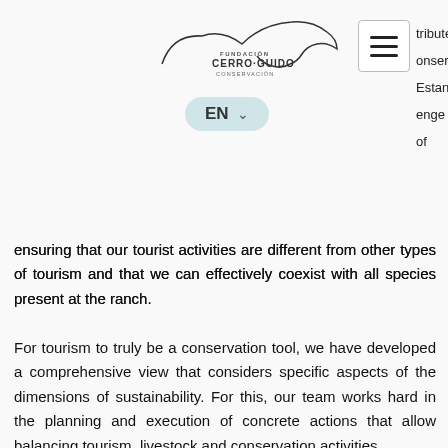[Figure (logo): Fundacion Cerro Guido Conservacion logo with stylized bird outline]
[Figure (other): Hamburger menu button icon (three horizontal lines)]
tributes
onserve
Estancia
enge of
EN (language selector dropdown)
ensuring that our tourist activities are different from other types of tourism and that we can effectively coexist with all species present at the ranch.
For tourism to truly be a conservation tool, we have developed a comprehensive view that considers specific aspects of the dimensions of sustainability. For this, our team works hard in the planning and execution of concrete actions that allow balancing tourism, livestock and conservation activities.
We believe that the development of sustainable tourism implies being based on essential pillars such as respect for nature, appreciation of traditional knowledge, education and awareness of